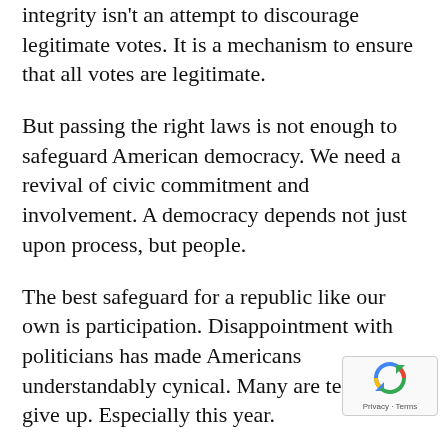integrity isn't an attempt to discourage legitimate votes. It is a mechanism to ensure that all votes are legitimate.
But passing the right laws is not enough to safeguard American democracy. We need a revival of civic commitment and involvement. A democracy depends not just upon process, but people.
The best safeguard for a republic like our own is participation. Disappointment with politicians has made Americans understandably cynical. Many are tempted to give up. Especially this year.
But failing to vote doesn't stop bad people from running. Staying home makes it more likely that bad people will not only run but win.
Good citizens who give up also make close outcomes more likely. And close elections are the
[Figure (other): reCAPTCHA badge showing recycling-arrow logo and Privacy · Terms text]